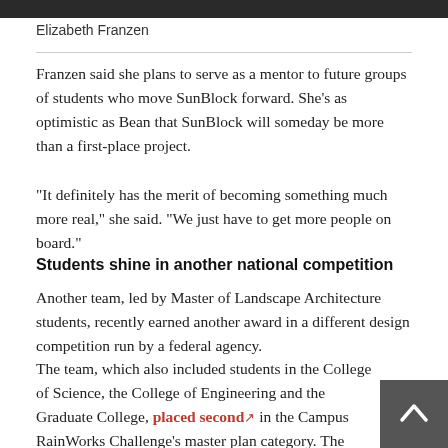[Figure (photo): Dark photo strip at top of page]
Elizabeth Franzen
Franzen said she plans to serve as a mentor to future groups of students who move SunBlock forward. She's as optimistic as Bean that SunBlock will someday be more than a first-place project.
"It definitely has the merit of becoming something much more real," she said. "We just have to get more people on board."
Students shine in another national competition
Another team, led by Master of Landscape Architecture students, recently earned another award in a different design competition run by a federal agency.
The team, which also included students in the College of Science, the College of Engineering and the Graduate College, placed second in the Campus RainWorks Challenge's master plan category. The national competition, run by the